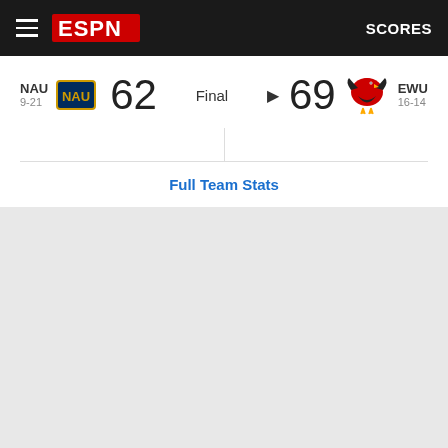ESPN SCORES
NAU 9-21  62  Final  69  EWU 16-14
Full Team Stats